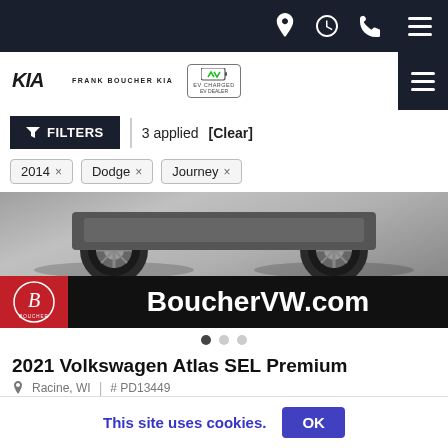Navigation bar with location, hours, phone icons and hamburger menu
[Figure (logo): Frank Boucher Kia logo with EV charging badge]
FILTERS | 3 applied [Clear]
2014 ×
Dodge ×
Journey ×
[Figure (photo): Car wheels/undercarriage photo with BoucherVW.com banner overlay]
2021 Volkswagen Atlas SEL Premium
Racine, WI  |  # PD13449
This site uses cookies.  OK